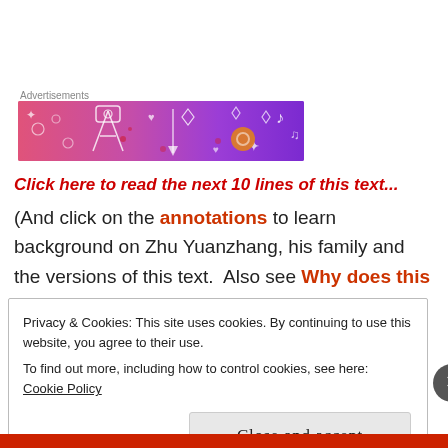[Figure (illustration): Colorful advertisement banner with pink-to-purple gradient background containing white doodle icons including music notes, diamonds, hearts, arrows, a tripod/camera, and other decorative elements. Labeled 'Advertisements' above it.]
Click here to read the next 10 lines of this text...
(And click on the annotations to learn background on Zhu Yuanzhang, his family and the versions of this text.  Also see Why does this text matter?)
Privacy & Cookies: This site uses cookies. By continuing to use this website, you agree to their use.
To find out more, including how to control cookies, see here: Cookie Policy

Close and accept